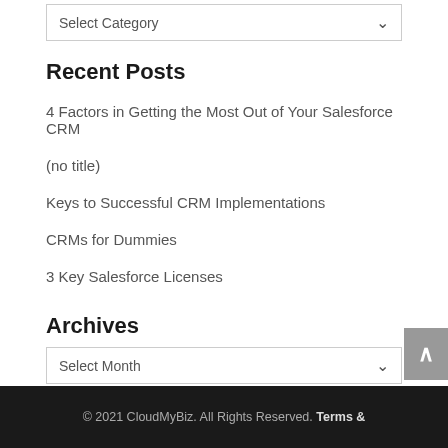Select Category
Recent Posts
4 Factors in Getting the Most Out of Your Salesforce CRM
(no title)
Keys to Successful CRM Implementations
CRMs for Dummies
3 Key Salesforce Licenses
Archives
Select Month
© 2021 CloudMyBiz. All Rights Reserved. Terms &